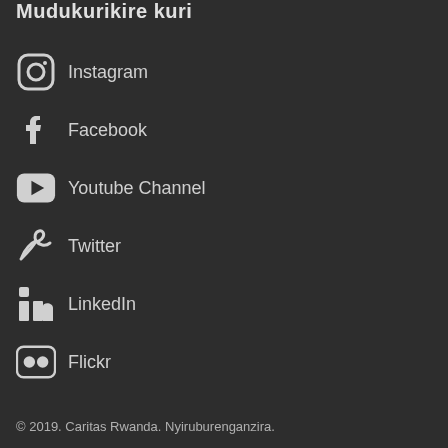Mudukurikire kuri
Instagram
Facebook
Youtube Channel
Twitter
LinkedIn
Flickr
© 2019. Caritas Rwanda. Nyiruburenganzira.